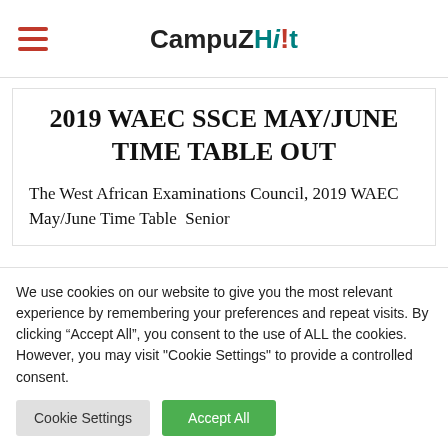CampuZHit
2019 WAEC SSCE MAY/JUNE TIME TABLE OUT
The West African Examinations Council, 2019 WAEC May/June Time Table Senior
We use cookies on our website to give you the most relevant experience by remembering your preferences and repeat visits. By clicking “Accept All”, you consent to the use of ALL the cookies. However, you may visit "Cookie Settings" to provide a controlled consent.